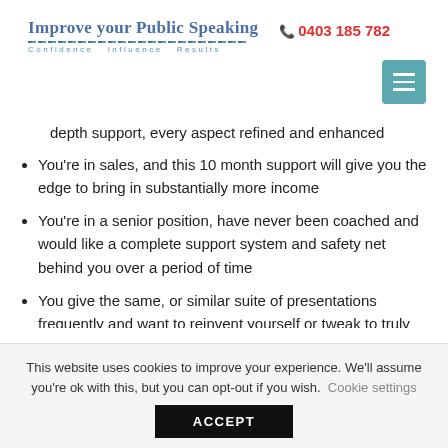Improve your Public Speaking — Confidence Influence Results | 0403 185 782
depth support, every aspect refined and enhanced
You're in sales, and this 10 month support will give you the edge to bring in substantially more income
You're in a senior position, have never been coached and would like a complete support system and safety net behind you over a period of time
You give the same, or similar suite of presentations frequently and want to reinvent yourself or tweak to truly stand out!
This website uses cookies to improve your experience. We'll assume you're ok with this, but you can opt-out if you wish. Cookie settings ACCEPT